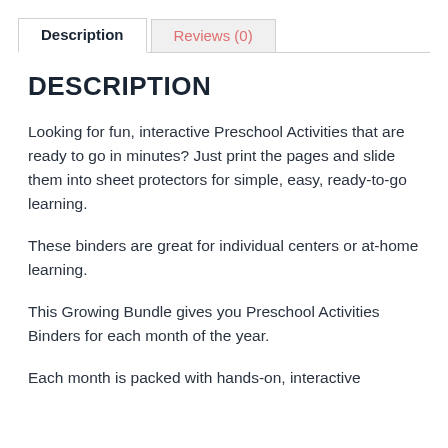Description | Reviews (0)
DESCRIPTION
Looking for fun, interactive Preschool Activities that are ready to go in minutes? Just print the pages and slide them into sheet protectors for simple, easy, ready-to-go learning.
These binders are great for individual centers or at-home learning.
This Growing Bundle gives you Preschool Activities Binders for each month of the year.
Each month is packed with hands-on, interactive